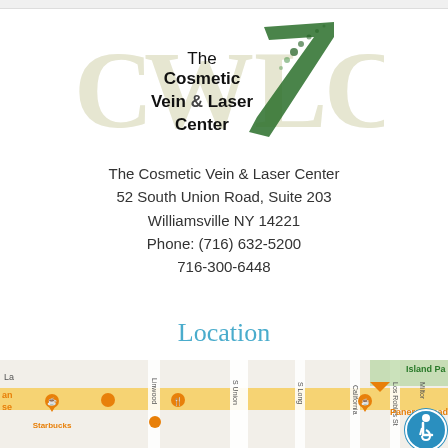[Figure (logo): The Cosmetic Vein & Laser Center logo with large faded CWLC letters and a green diagonal checkmark/swoosh]
The Cosmetic Vein & Laser Center
52 South Union Road, Suite 203
Williamsville NY 14221
Phone: (716) 632-5200
716-300-6448
Location
[Figure (map): Google Maps partial view showing South Union Road area in Williamsville NY with Panera Bread, Starbucks markers visible]